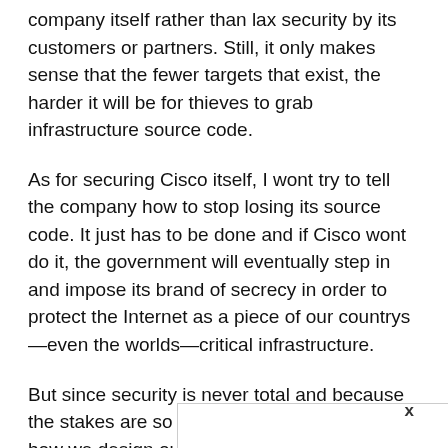company itself rather than lax security by its customers or partners. Still, it only makes sense that the fewer targets that exist, the harder it will be for thieves to grab infrastructure source code.
As for securing Cisco itself, I wont try to tell the company how to stop losing its source code. It just has to be done and if Cisco wont do it, the government will eventually step in and impose its brand of secrecy in order to protect the Internet as a piece of our countrys—even the worlds—critical infrastructure.
But since security is never total and because the stakes are so high, we ought to look at how we design our networks and make them more resilient to attacks, even by people who know all the secrets. And if we have to, maybe the best approac